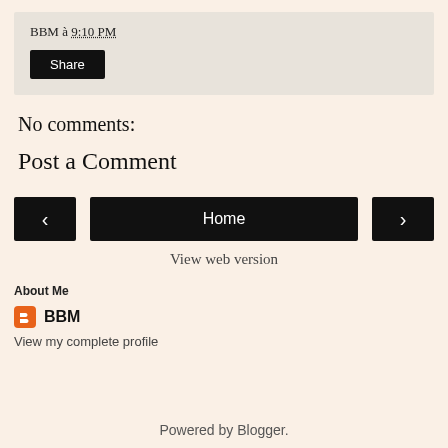BBM à 9:10 PM
Share
No comments:
Post a Comment
‹
Home
›
View web version
About Me
BBM
View my complete profile
Powered by Blogger.